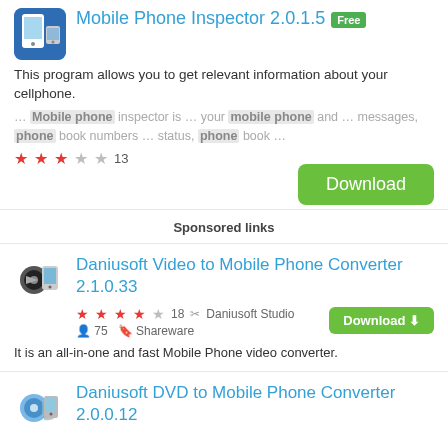Mobile Phone Inspector 2.0.1.5 Free
This program allows you to get relevant information about your cellphone.
… Mobile phone inspector is … your mobile phone and … messages, phone book numbers … status, phone book …
★★★☆☆ 13
Sponsored links
Daniusoft Video to Mobile Phone Converter 2.1.0.33
★★★★☆ 18  Daniusoft Studio  75  Shareware
It is an all-in-one and fast Mobile Phone video converter.
Daniusoft DVD to Mobile Phone Converter 2.0.0.12